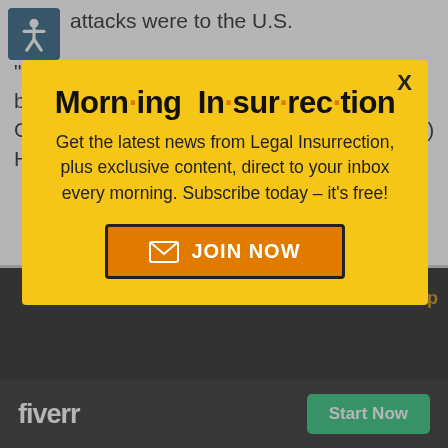attacks were to the U.S.
“Nariman House” was a Chabad House run by Chabad-Lubavitch emissaries Rabbi Gavriel Noach (Gabi), 29, and Rivkah (Rivky) Holtzberg, 28.
[Figure (screenshot): Modal popup advertisement for Morning Insurrection newsletter on a yellow background, with title 'Morn·ing In·sur·rec·tion', subscription text, and a JOIN NOW button.]
Back to Top
[Figure (screenshot): Small white X close button over a dark photo background.]
[Figure (screenshot): Fiverr advertisement bar at the bottom with Fiverr logo and Start Now button.]